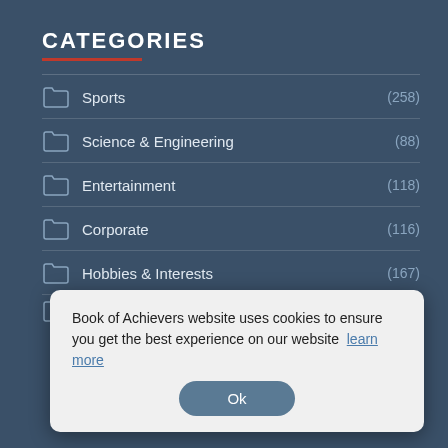CATEGORIES
Sports (258)
Science & Engineering (88)
Entertainment (118)
Corporate (116)
Hobbies & Interests (167)
Social Science & Services (434)
Book of Achievers website uses cookies to ensure you get the best experience on our website  learn more
Ok